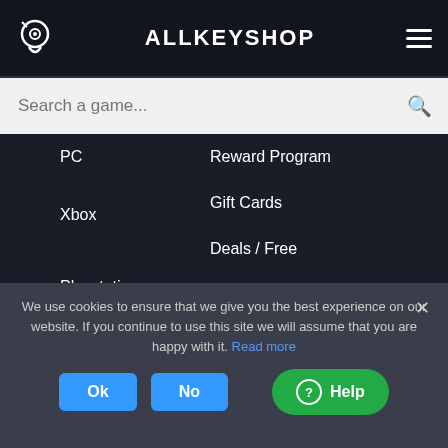ALLKEYSHOP
Search a game...
PC
Reward Program
Gift Cards
Xbox
Deals / Free
Store Reviews
Playstation
Top Games 2022
AKS Merch USA
Nintendo
We use cookies to ensure that we give you the best experience on our website. If you continue to use this site we will assume that you are happy with it. Read more
Ok No Help